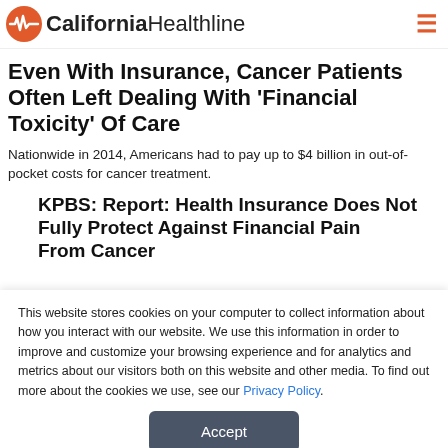California Healthline
Even With Insurance, Cancer Patients Often Left Dealing With 'Financial Toxicity' Of Care
Nationwide in 2014, Americans had to pay up to $4 billion in out-of-pocket costs for cancer treatment.
KPBS: Report: Health Insurance Does Not Fully Protect Against Financial Pain From Cancer
This website stores cookies on your computer to collect information about how you interact with our website. We use this information in order to improve and customize your browsing experience and for analytics and metrics about our visitors both on this website and other media. To find out more about the cookies we use, see our Privacy Policy.
Accept